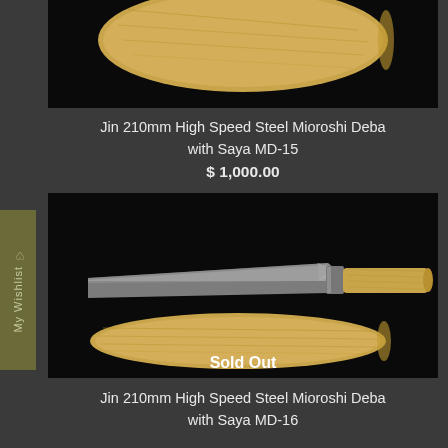[Figure (photo): Partial top view of a wooden saya (knife sheath) on black background, cropped at top]
Jin 210mm High Speed Steel Mioroshi Deba with Saya MD-15
$ 1,000.00
[Figure (photo): Japanese Mioroshi Deba knife with light wood handle and wooden saya on black background. Shows 'Sold Out' text overlay.]
Jin 210mm High Speed Steel Mioroshi Deba with Saya MD-16